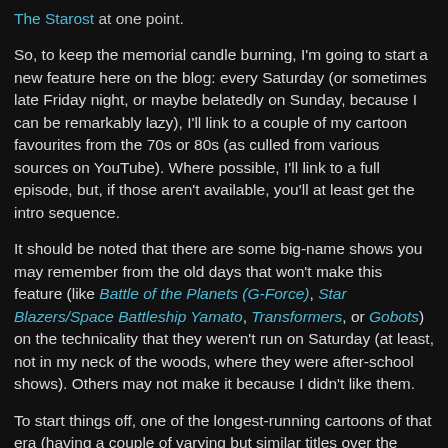The Starost at one point.
So, to keep the memorial candle burning, I'm going to start a new feature here on the blog: every Saturday (or sometimes late Friday night, or maybe belatedly on Sunday, because I can be remarkably lazy), I'll link to a couple of my cartoon favourites from the 70s or 80s (as culled from various sources on YouTube). Where possible, I'll link to a full episode, but, if those aren't available, you'll at least get the intro sequence.
It should be noted that there are some big-name shows you may remember from the old days that won't make this feature (like Battle of the Planets (G-Force), Star Blazers/Space Battleship Yamato, Transformers, or Gobots) on the technicality that they weren't run on Saturday (at least, not in my neck of the woods, where they were after-school shows). Others may not make it because I didn't like them.
To start things off, one of the longest-running cartoons of that era (having a couple of varying but similar titles over the years), and also one of my favourites: The Superfriends (